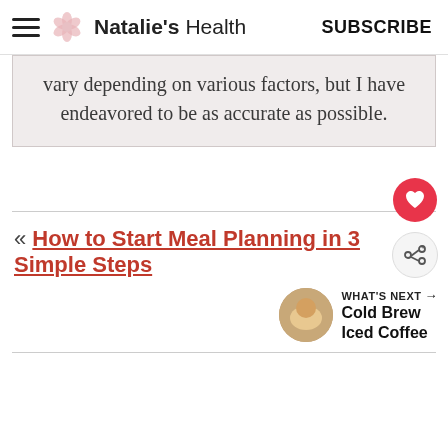Natalie's Health  SUBSCRIBE
vary depending on various factors, but I have endeavored to be as accurate as possible.
« How to Start Meal Planning in 3 Simple Steps
WHAT'S NEXT → Cold Brew Iced Coffee